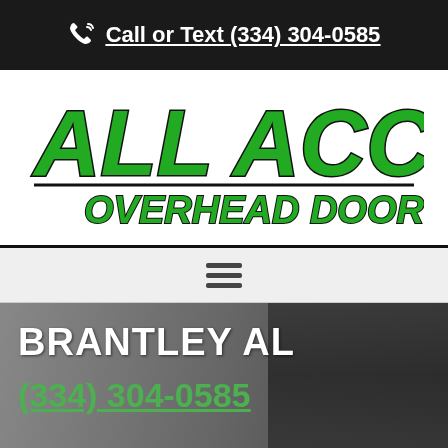Call or Text (334) 304-0585
[Figure (logo): All Access Overhead Door LLC logo in green and black italic bold text]
[Figure (other): Hamburger menu icon with three horizontal lines]
BRANTLEY AL
(334) 304-0585
Make An Appointment